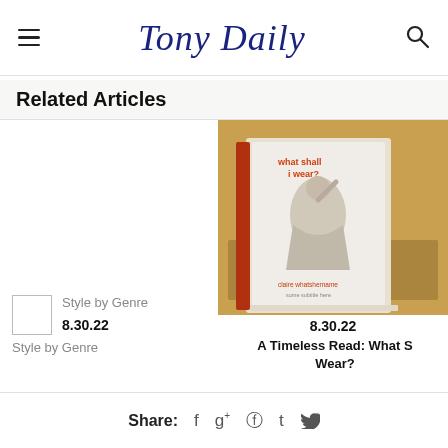Tony Daily
Related Articles
[Figure (photo): Photo of a book titled 'what shall i wear?' on a wooden surface, with vintage black and white imagery on the cover]
Style by Genre
8.30.22
8.30.22
A Timeless Read: What S... Wear?
Style by Genre
Share: f g+ p t tw